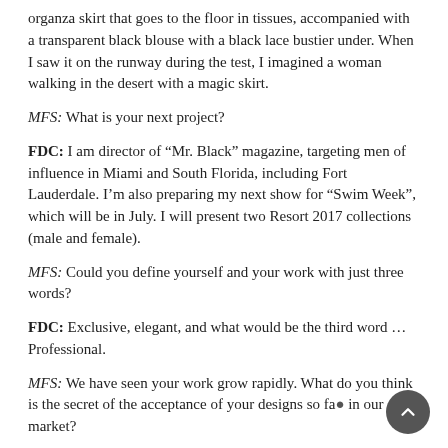organza skirt that goes to the floor in tissues, accompanied with a transparent black blouse with a black lace bustier under. When I saw it on the runway during the test, I imagined a woman walking in the desert with a magic skirt.
MFS: What is your next project?
FDC: I am director of “Mr. Black” magazine, targeting men of influence in Miami and South Florida, including Fort Lauderdale. I’m also preparing my next show for “Swim Week”, which will be in July. I will present two Resort 2017 collections (male and female).
MFS: Could you define yourself and your work with just three words?
FDC: Exclusive, elegant, and what would be the third word … Professional.
MFS: We have seen your work grow rapidly. What do you think is the secret of the acceptance of your designs so far in our market?